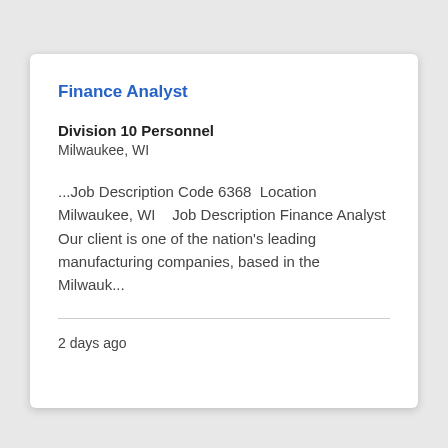Finance Analyst
Division 10 Personnel
Milwaukee, WI
...Job Description Code 6368  Location Milwaukee, WI    Job Description Finance Analyst Our client is one of the nation's leading manufacturing companies, based in the Milwauk...
2 days ago